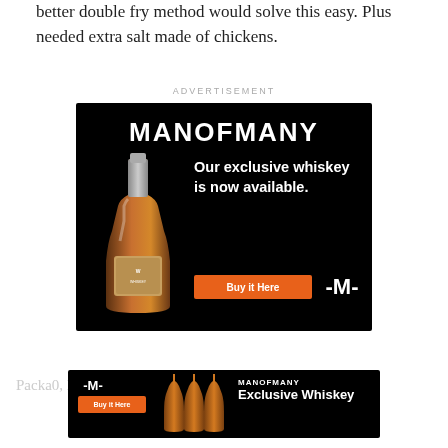better double fry method would solve this easy. Plus needed extra salt made of chickens.
ADVERTISEMENT
[Figure (illustration): Man of Many whiskey advertisement on black background. Shows 'MANOFMANY' text at top, whiskey bottle on left, text 'Our exclusive whiskey is now available.' and orange 'Buy it Here' button, with logo bottom right.]
Packaging 0, I think t the
[Figure (illustration): Second Man of Many banner advertisement showing brand logo, buy button, whiskey bottles, and 'MANOFMANY Exclusive Whiskey' text on black background.]